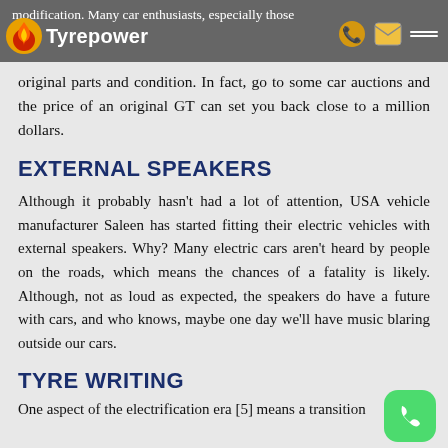modification. Many car enthusiasts, especially those looking for classic muscle cars, are looking for original parts and condition. In fact, go to some car auctions and the price of an original GT can set you back close to a million dollars.
EXTERNAL SPEAKERS
Although it probably hasn't had a lot of attention, USA vehicle manufacturer Saleen has started fitting their electric vehicles with external speakers. Why? Many electric cars aren't heard by people on the roads, which means the chances of a fatality is likely. Although, not as loud as expected, the speakers do have a future with cars, and who knows, maybe one day we'll have music blaring outside our cars.
TYRE WRITING
One aspect of the electrification era [5] means a transition